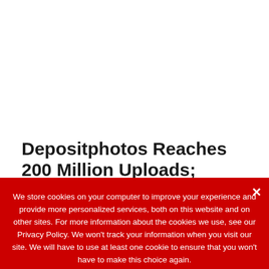Depositphotos Reaches 200 Million Uploads; Reveals Massive Spike in Search for
We store cookies on your computer to improve your experience and provide more personalized services, both on this website and on other sites. For more information about the cookies we use, see our Privacy Policy. We won't track your information when you visit our site. We will have to use at least one cookie to ensure that you won't have to make this choice again.
Accept   Privacy Policy